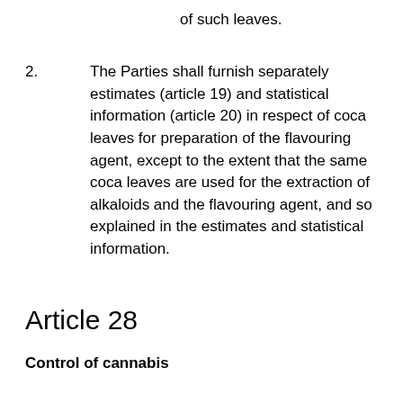of such leaves.
2.	The Parties shall furnish separately estimates (article 19) and statistical information (article 20) in respect of coca leaves for preparation of the flavouring agent, except to the extent that the same coca leaves are used for the extraction of alkaloids and the flavouring agent, and so explained in the estimates and statistical information.
Article 28
Control of cannabis